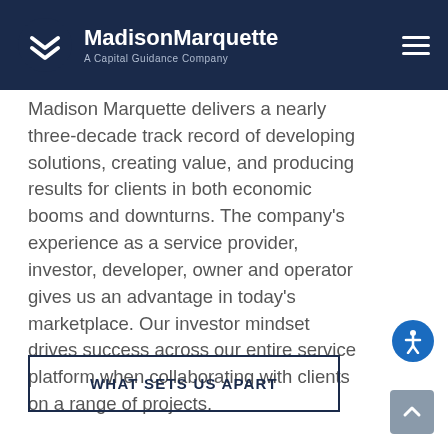MadisonMarquette — A Capital Guidance Company
Madison Marquette delivers a nearly three-decade track record of developing solutions, creating value, and producing results for clients in both economic booms and downturns. The company's experience as a service provider, investor, developer, owner and operator gives us an advantage in today's marketplace. Our investor mindset drives success across our entire service platform when collaborating with clients on a range of projects.
WHAT SETS US APART